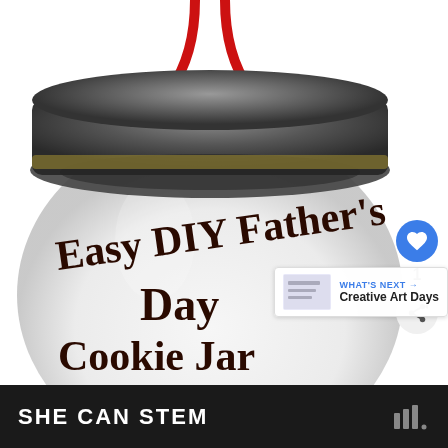[Figure (photo): A round glass cookie jar with a dark metallic lid, hung with a red cord/ribbon. Text written on the jar reads 'Easy DIY Father's Day Cookie Jar'. There is a blue heart/like button overlay showing count of 1, a share button, and a 'What's Next' overlay showing 'Creative Art Days'.]
SHE CAN STEM